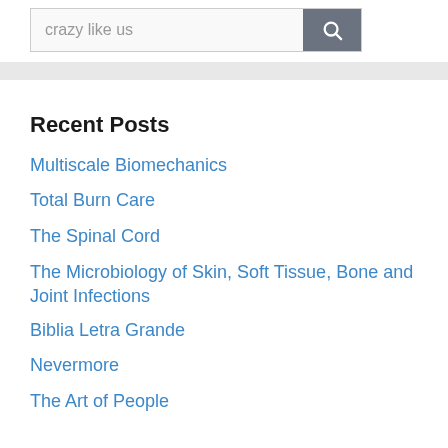[Figure (screenshot): Search bar with text 'crazy like us' and a dark gray search button with a magnifying glass icon]
Recent Posts
Multiscale Biomechanics
Total Burn Care
The Spinal Cord
The Microbiology of Skin, Soft Tissue, Bone and Joint Infections
Biblia Letra Grande
Nevermore
The Art of People